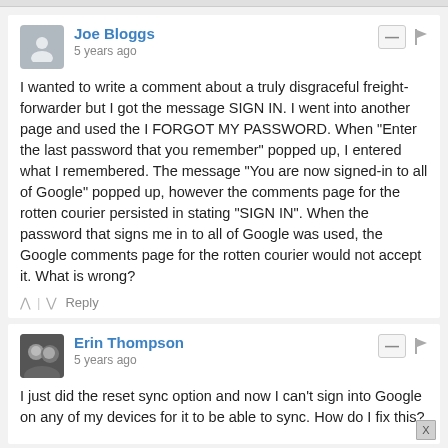Joe Bloggs
5 years ago
I wanted to write a comment about a truly disgraceful freight-forwarder but I got the message SIGN IN. I went into another page and used the I FORGOT MY PASSWORD. When "Enter the last password that you remember" popped up, I entered what I remembered. The message "You are now signed-in to all of Google" popped up, however the comments page for the rotten courier persisted in stating "SIGN IN". When the password that signs me in to all of Google was used, the Google comments page for the rotten courier would not accept it. What is wrong?
Erin Thompson
5 years ago
I just did the reset sync option and now I can't sign into Google on any of my devices for it to be able to sync. How do I fix this?